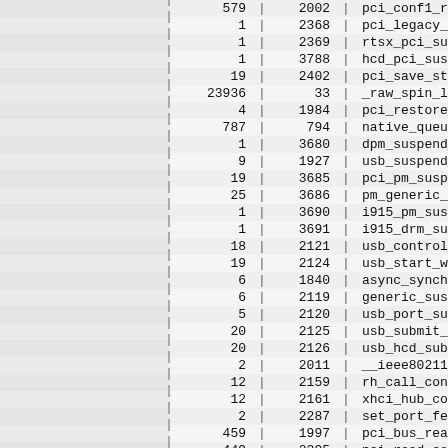| (left) | col1 | | | col2 | | | function |
| --- | --- | --- | --- | --- | --- |
|  | 579 | 2002 | pci_conf1_read |
|  | 1 | 2368 | pci_legacy_sus |
|  | 1 | 2369 | rtsx_pci_suspe |
|  | 1 | 3788 | hcd_pci_suspen |
|  | 19 | 2402 | pci_save_state |
|  | 23936 | 33 | _raw_spin_lock |
|  | 4 | 1984 | pci_restore_st |
|  | 787 | 794 | native_queued_ |
|  | 1 | 3680 | dpm_suspend_la |
|  | 9 | 1927 | usb_suspend_bo |
|  | 19 | 3685 | pci_pm_suspend |
|  | 25 | 3686 | pm_generic_sus |
|  | 1 | 3690 | i915_pm_suspen |
|  | 1 | 3691 | i915_drm_suspe |
|  | 18 | 2121 | usb_control_ms |
|  | 19 | 2124 | usb_start_wait |
|  | 6 | 1840 | async_synchron |
|  | 6 | 2119 | generic_suspen |
|  | 5 | 2120 | usb_port_suspe |
|  | 20 | 2125 | usb_submit_urb |
|  | 20 | 2126 | usb_hcd_submit |
|  | 2 | 2011 | __ieee80211_su |
|  | 12 | 2159 | rh_call_contro |
|  | 12 | 2161 | xhci_hub_contr |
|  | 2 | 2287 | set_port_featu |
|  | 459 | 1997 | pci_bus_read_c |
|  | 449 | 2395 | pci_read_confi |
|  | 118 | 3330 | e1000_access_p |
|  | 115 | 3336 | e1000_write_ph |
|  | 5 | 2381 | crb_wait_for_r |
|  | 1 | 2550 | ieee80211_stop |
|  | 1 | 2558 | drv_stop |